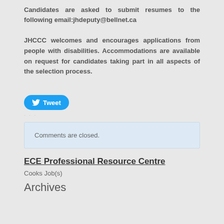Candidates are asked to submit resumes to the following email:jhdeputy@bellnet.ca
JHCCC welcomes and encourages applications from people with disabilities. Accommodations are available on request for candidates taking part in all aspects of the selection process.
[Figure (other): Tweet button with Twitter bird icon]
Comments are closed.
ECE Professional Resource Centre
Cooks Job(s)
Archives